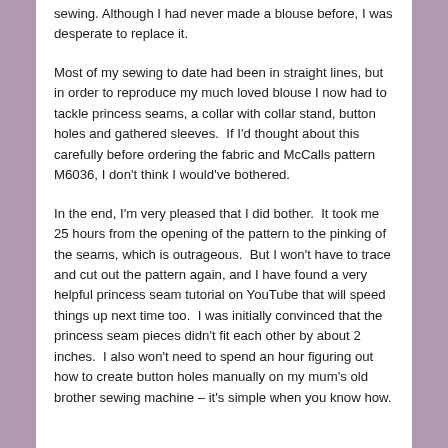sewing. Although I had never made a blouse before, I was desperate to replace it.
Most of my sewing to date had been in straight lines, but in order to reproduce my much loved blouse I now had to tackle princess seams, a collar with collar stand, button holes and gathered sleeves.  If I'd thought about this carefully before ordering the fabric and McCalls pattern M6036, I don't think I would've bothered.
In the end, I'm very pleased that I did bother.  It took me 25 hours from the opening of the pattern to the pinking of the seams, which is outrageous.  But I won't have to trace and cut out the pattern again, and I have found a very helpful princess seam tutorial on YouTube that will speed things up next time too.  I was initially convinced that the princess seam pieces didn't fit each other by about 2 inches.  I also won't need to spend an hour figuring out how to create button holes manually on my mum's old brother sewing machine – it's simple when you know how.